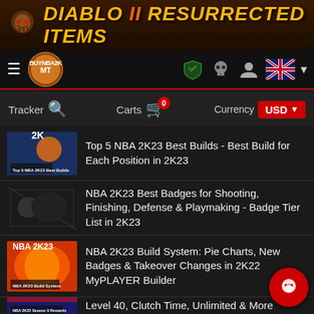[Figure (screenshot): Website banner for Diablo II Resurrected Items with skull graphic and yellow/orange text]
[Figure (screenshot): Navigation bar with BuyNBA2KMT logo, hamburger menu, shield icon, skull icon, user icon, UK flag]
[Figure (screenshot): Toolbar with Tracker search, Carts badge showing 0, Currency selector USD]
Top 5 NBA 2K23 Best Builds - Best Build for Each Position in 2K23
NBA 2K23 Best Badges for Shooting, Finishing, Defense & Playmaking - Badge Tier List in 2K23
NBA 2K23 Build System: Pie Charts, New Badges & Takeover Changes in 2K22 MyPLAYER Builder
NBA 2K22 Season 9 Rewards - Release Date, Level 40, Clutch Time, Unlimited & More Rewards